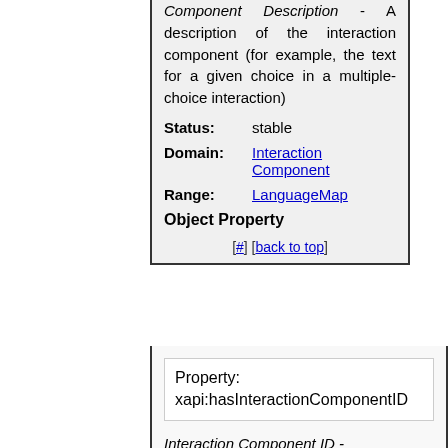Component Description - A description of the interaction component (for example, the text for a given choice in a multiple-choice interaction)
Status: stable
Domain: Interaction Component
Range: LanguageMap
Object Property
[#] [back to top]
Property: xapi:hasInteractionComponentID
Interaction Component ID -